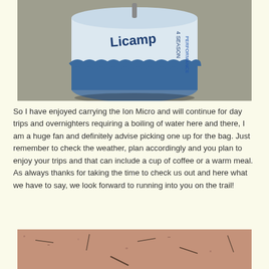[Figure (photo): Close-up photo of a Licamp camping gas canister (blue and white) sitting on gravel ground, viewed from above at an angle.]
So I have enjoyed carrying the Ion Micro and will continue for day trips and overnighters requiring a boiling of water here and there, I am a huge fan and definitely advise picking one up for the bag. Just remember to check the weather, plan accordingly and you plan to enjoy your trips and that can include a cup of coffee or a warm meal. As always thanks for taking the time to check us out and here what we have to say, we look forward to running into you on the trail!
[Figure (photo): Photo of reddish sandy/dirt ground with small sticks or thorns scattered on the surface.]